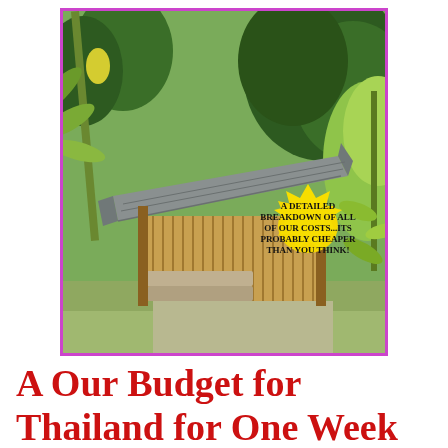[Figure (photo): A bamboo/wooden hut with a corrugated metal roof surrounded by tropical vegetation including banana trees and palm plants. A yellow starburst badge overlaid on the lower right of the photo reads: 'A DETAILED BREAKDOWN OF ALL OF OUR COSTS...ITS PROBABLY CHEAPER THAN YOU THINK!'. The photo is framed with a purple/magenta border.]
A Our Budget for Thailand for One Week